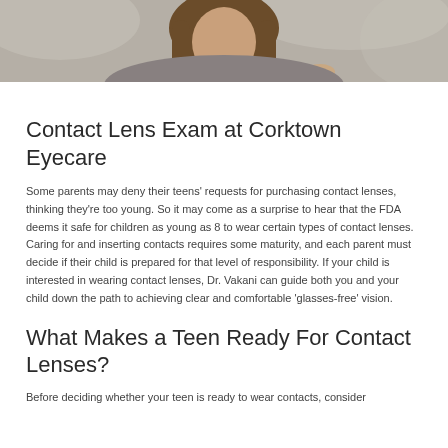[Figure (photo): Photo of a young woman with long brown hair, wearing a grey top, leaning forward with her arms crossed, photographed outdoors with a blurred background.]
Contact Lens Exam at Corktown Eyecare
Some parents may deny their teens’ requests for purchasing contact lenses, thinking they’re too young. So it may come as a surprise to hear that the FDA deems it safe for children as young as 8 to wear certain types of contact lenses. Caring for and inserting contacts requires some maturity, and each parent must decide if their child is prepared for that level of responsibility. If your child is interested in wearing contact lenses, Dr. Vakani can guide both you and your child down the path to achieving clear and comfortable ‘glasses-free’ vision.
What Makes a Teen Ready For Contact Lenses?
Before deciding whether your teen is ready to wear contacts, consider